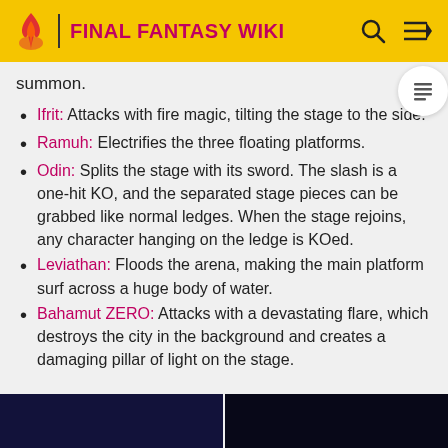FINAL FANTASY WIKI
summon.
Ifrit: Attacks with fire magic, tilting the stage to the side.
Ramuh: Electrifies the three floating platforms.
Odin: Splits the stage with its sword. The slash is a one-hit KO, and the separated stage pieces can be grabbed like normal ledges. When the stage rejoins, any character hanging on the ledge is KOed.
Leviathan: Floods the arena, making the main platform surf across a huge body of water.
Bahamut ZERO: Attacks with a devastating flare, which destroys the city in the background and creates a damaging pillar of light on the stage.
[Figure (photo): Two dark screenshots at bottom of page]